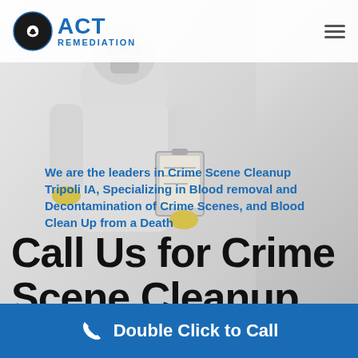[Figure (photo): Person wearing white hazmat suit and respirator mask holding a clipboard with yellow gloves, set against a light grey/white background]
ACT REMEDIATION
We are the leaders in Crime Scene Cleanup Tripoli IA, Specializing in Blood removal and Decontamination of Crime Scenes, and Blood Clean Up from a Death
Call Us for Crime Scene Cleanup Tripoli IA - 1-888-477-0015
Double Click to Call